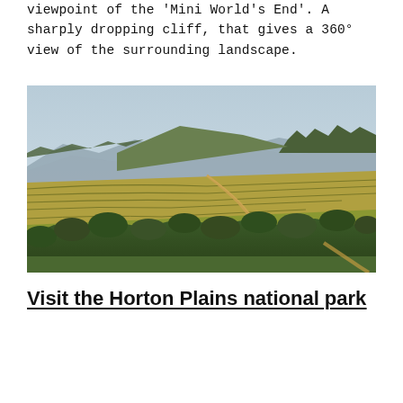viewpoint of the 'Mini World's End'. A sharply dropping cliff, that gives a 360° view of the surrounding landscape.
[Figure (photo): Aerial landscape photograph showing terraced green and golden fields with winding paths, dense forest in the foreground, and blue mountains in the background under a hazy sky.]
Visit the Horton Plains national park